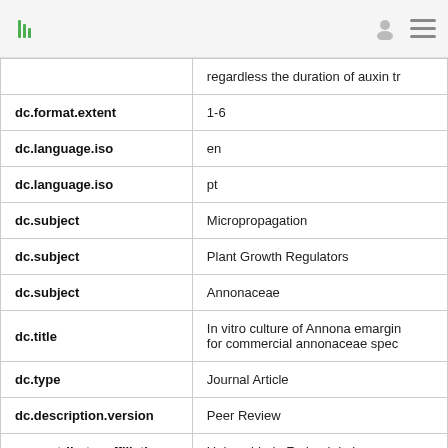| Field | Value |
| --- | --- |
|  | regardless the duration of auxin tr |
| dc.format.extent | 1-6 |
| dc.language.iso | en |
| dc.language.iso | pt |
| dc.subject | Micropropagation |
| dc.subject | Plant Growth Regulators |
| dc.subject | Annonaceae |
| dc.title | In vitro culture of Annona emargin for commercial annonaceae spec |
| dc.type | Journal Article |
| dc.description.version | Peer Review |
| cg.contributor.affiliation | Universidade Federal de Lavras |